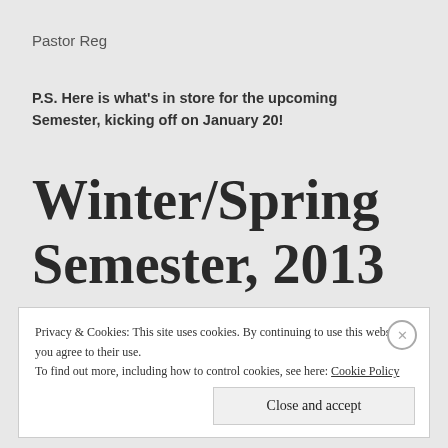Pastor Reg
P.S. Here is what’s in store for the upcoming Semester, kicking off on January 20!
Winter/Spring Semester, 2013
Privacy & Cookies: This site uses cookies. By continuing to use this website, you agree to their use.
To find out more, including how to control cookies, see here: Cookie Policy
Close and accept